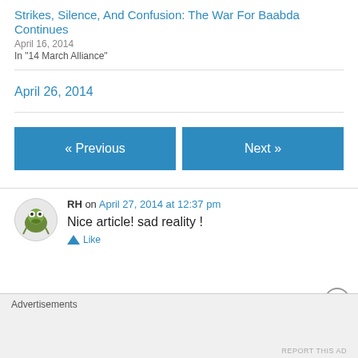Strikes, Silence, And Confusion: The War For Baabda Continues
April 16, 2014
In "14 March Alliance"
April 26, 2014
« Previous
Next »
RH on April 27, 2014 at 12:37 pm
Nice article! sad reality !
Advertisements